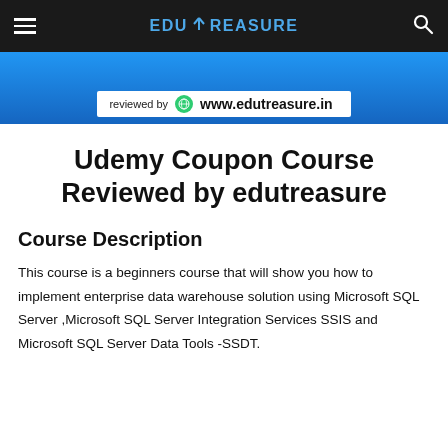EDUTREASURE
[Figure (screenshot): Blue banner image with 'reviewed by www.edutreasure.in' overlay bar]
Udemy Coupon Course Reviewed by edutreasure
Course Description
This course is a beginners course that will show you how to implement enterprise data warehouse solution using Microsoft SQL Server ,Microsoft SQL Server Integration Services SSIS and Microsoft SQL Server Data Tools -SSDT.